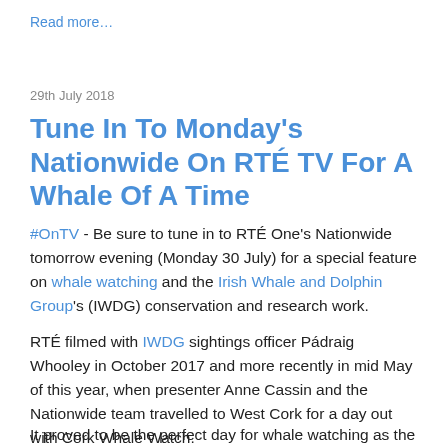Read more…
29th July 2018
Tune In To Monday's Nationwide On RTÉ TV For A Whale Of A Time
#OnTV - Be sure to tune in to RTÉ One's Nationwide tomorrow evening (Monday 30 July) for a special feature on whale watching and the Irish Whale and Dolphin Group's (IWDG) conservation and research work.
RTÉ filmed with IWDG sightings officer Pádraig Whooley in October 2017 and more recently in mid May of this year, when presenter Anne Cassin and the Nationwide team travelled to West Cork for a day out with Cork Whale Watch.
It proved to be the perfect day for whale watching as the team